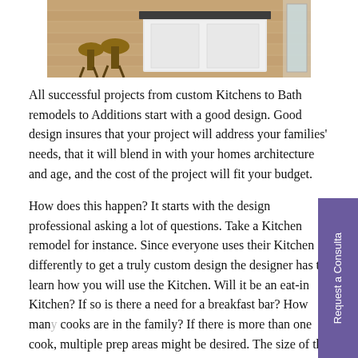[Figure (photo): Photo of a kitchen island with bar stools and hardwood floor, viewed from above/angle]
All successful projects from custom Kitchens to Bath remodels to Additions start with a good design. Good design insures that your project will address your families' needs, that it will blend in with your homes architecture and age, and the cost of the project will fit your budget.
How does this happen? It starts with the design professional asking a lot of questions. Take a Kitchen remodel for instance. Since everyone uses their Kitchen differently to get a truly custom design the designer has to learn how you will use the Kitchen. Will it be an eat-in Kitchen? If so is there a need for a breakfast bar? How many cooks are in the family? If there is more than one cook, multiple prep areas might be desired. The size of the people using the Kitchen is important to consider in the design. Can someone reach those upper cabinets? Should the Kitchen be designed with some special storage to meet their kitchen needs. Thi